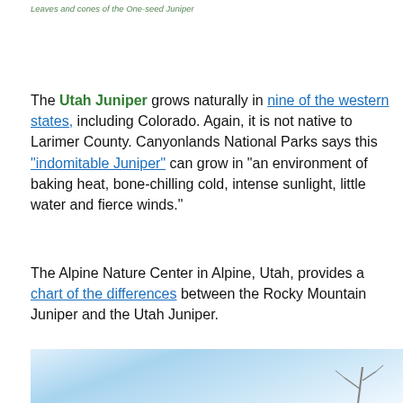Leaves and cones of the One-seed Juniper
The Utah Juniper grows naturally in nine of the western states, including Colorado. Again, it is not native to Larimer County. Canyonlands National Parks says this "indomitable Juniper" can grow in "an environment of baking heat, bone-chilling cold, intense sunlight, little water and fierce winds."
The Alpine Nature Center in Alpine, Utah, provides a chart of the differences between the Rocky Mountain Juniper and the Utah Juniper.
[Figure (photo): Photo of a juniper tree against a blue sky with clouds]